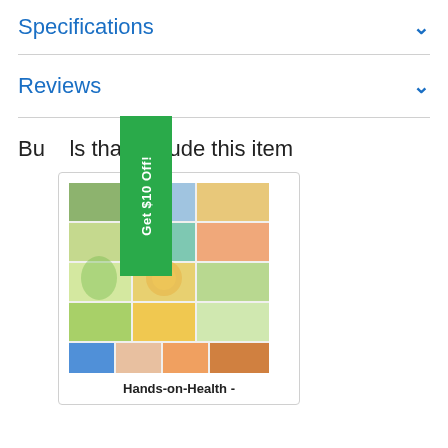Specifications
Reviews
Bundles that Include this item
[Figure (photo): Product collage image for Hands-on-Health bundle showing various educational health food items, puzzles, and activity materials]
Hands-on-Health -